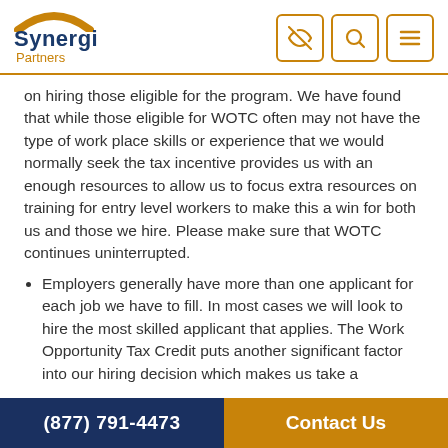Synergi Partners
on hiring those eligible for the program. We have found that while those eligible for WOTC often may not have the type of work place skills or experience that we would normally seek the tax incentive provides us with an enough resources to allow us to focus extra resources on training for entry level workers to make this a win for both us and those we hire. Please make sure that WOTC continues uninterrupted.
Employers generally have more than one applicant for each job we have to fill. In most cases we will look to hire the most skilled applicant that applies. The Work Opportunity Tax Credit puts another significant factor into our hiring decision which makes us take a
(877) 791-4473   Contact Us